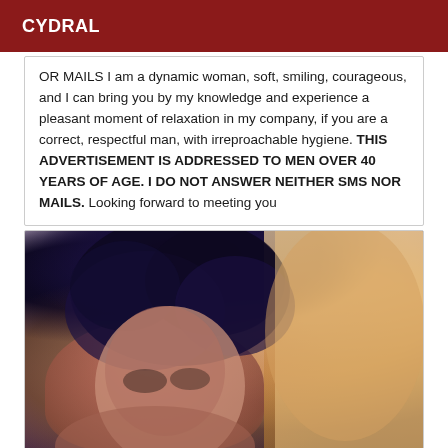CYDRAL
OR MAILS I am a dynamic woman, soft, smiling, courageous, and I can bring you by my knowledge and experience a pleasant moment of relaxation in my company, if you are a correct, respectful man, with irreproachable hygiene. THIS ADVERTISEMENT IS ADDRESSED TO MEN OVER 40 YEARS OF AGE. I DO NOT ANSWER NEITHER SMS NOR MAILS. Looking forward to meeting you
[Figure (photo): Close-up photograph of a woman with dark curly hair, looking at the camera, with a warm-toned background on the right side]